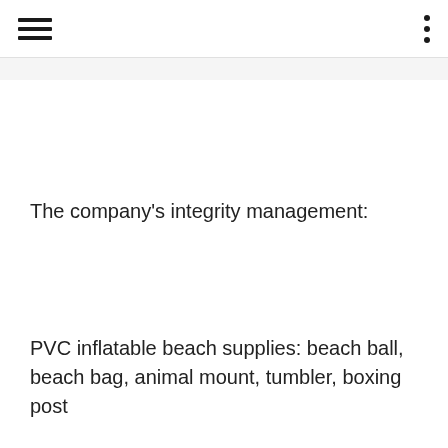The company's integrity management:
PVC inflatable beach supplies: beach ball, beach bag, animal mount, tumbler, boxing post